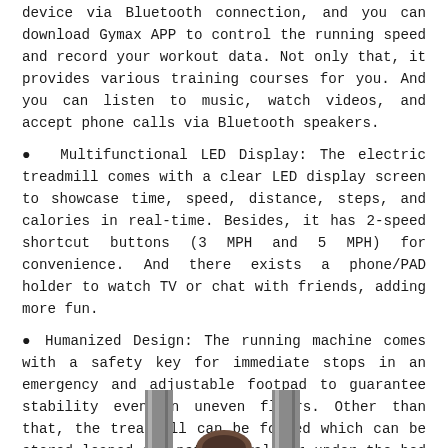device via Bluetooth connection, and you can download Gymax APP to control the running speed and record your workout data. Not only that, it provides various training courses for you. And you can listen to music, watch videos, and accept phone calls via Bluetooth speakers.
Multifunctional LED Display: The electric treadmill comes with a clear LED display screen to showcase time, speed, distance, steps, and calories in real-time. Besides, it has 2-speed shortcut buttons (3 MPH and 5 MPH) for convenience. And there exists a phone/PAD holder to watch TV or chat with friends, adding more fun.
Humanized Design: The running machine comes with a safety key for immediate stops in an emergency and adjustable footpad to guarantee stability even on uneven floors. Other than that, the treadmill can be folded which can be stored leaned against the wall or under the bed or sofa. And the transport wheels help move easily.
[Figure (photo): Bottom portion of a treadmill product image showing two vertical metal poles and a partial view of a circular element in the center, cropped at the bottom of the page.]